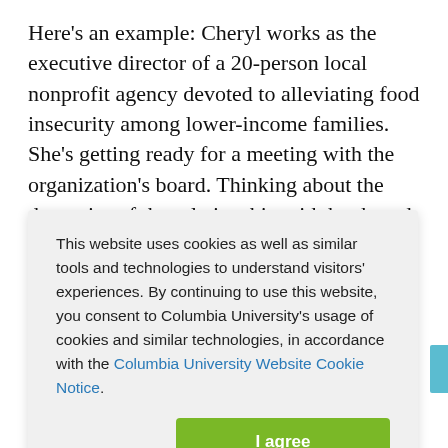Here's an example: Cheryl works as the executive director of a 20-person local nonprofit agency devoted to alleviating food insecurity among lower-income families. She's getting ready for a meeting with the organization's board. Thinking about the dynamics of the relationship with her board, she
This website uses cookies as well as similar tools and technologies to understand visitors' experiences. By continuing to use this website, you consent to Columbia University's usage of cookies and similar technologies, in accordance with the Columbia University Website Cookie Notice.
the nonprofit serves.
Executive: She wants to understand the board's...